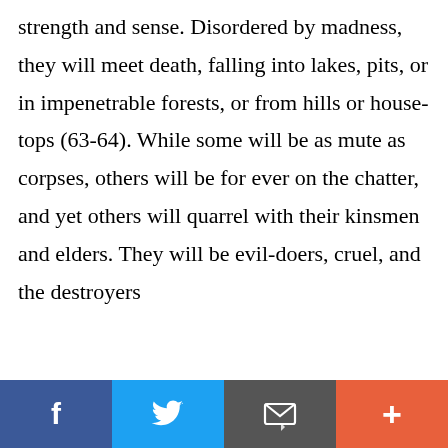strength and sense. Disordered by madness, they will meet death, falling into lakes, pits, or in impenetrable forests, or from hills or house-tops (63-64). While some will be as mute as corpses, others will be for ever on the chatter, and yet others will quarrel with their kinsmen and elders. They will be evil-doers, cruel, and the destroyers
This website uses cookies to ensure you get the best experience on our website.
Got it!
[Figure (screenshot): Social sharing bar with Facebook (blue), Twitter (light blue), email/envelope (grey), and plus/share (orange-red) buttons]